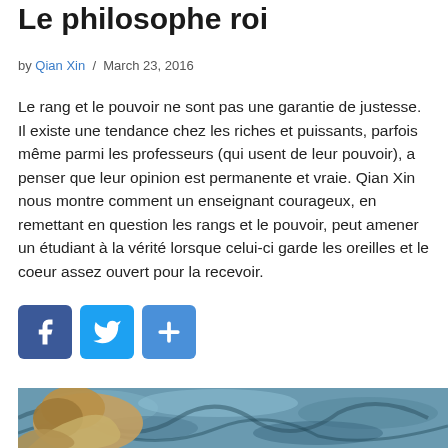Le philosophe roi
by Qian Xin / March 23, 2016
Le rang et le pouvoir ne sont pas une garantie de justesse. Il existe une tendance chez les riches et puissants, parfois même parmi les professeurs (qui usent de leur pouvoir), a penser que leur opinion est permanente et vraie. Qian Xin nous montre comment un enseignant courageux, en remettant en question les rangs et le pouvoir, peut amener un étudiant à la vérité lorsque celui-ci garde les oreilles et le coeur assez ouvert pour la recevoir.
[Figure (infographic): Social sharing buttons: Facebook (blue square with f), Twitter (blue square with bird), and share (blue square with plus sign)]
[Figure (photo): Partial view of a painting in the style of Van Gogh showing swirling blues and teal tones with golden/brown forms, visible from the bottom edge of the page.]